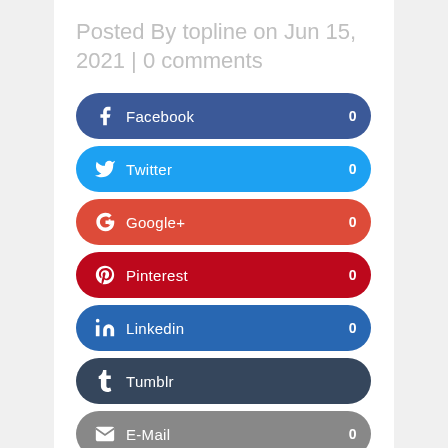Posted By topline on Jun 15, 2021 | 0 comments
[Figure (infographic): Social media share buttons: Facebook (0), Twitter (0), Google+ (0), Pinterest (0), Linkedin (0), Tumblr, E-Mail (0)]
Whiplash associated disorders (WAD) describes a constellation of symptoms (neck pain…